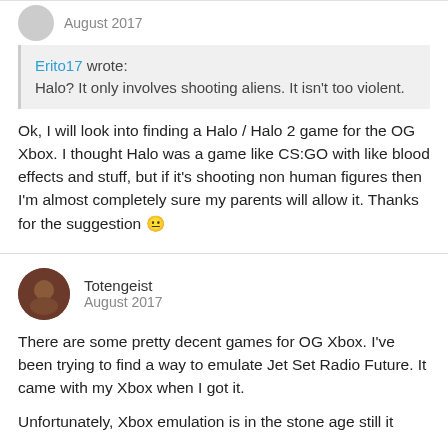August 2017
Erito17 wrote:
Halo? It only involves shooting aliens. It isn't too violent.
Ok, I will look into finding a Halo / Halo 2 game for the OG Xbox. I thought Halo was a game like CS:GO with like blood effects and stuff, but if it's shooting non human figures then I'm almost completely sure my parents will allow it. Thanks for the suggestion 😐
Totengeist
August 2017
There are some pretty decent games for OG Xbox. I've been trying to find a way to emulate Jet Set Radio Future. It came with my Xbox when I got it.
Unfortunately, Xbox emulation is in the stone age still it